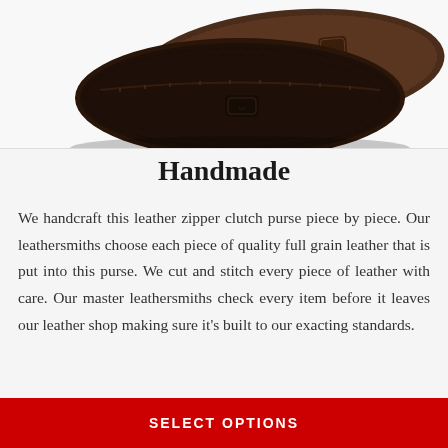[Figure (photo): Two dark brown leather zipper clutch purses stacked on a white background, showing texture and embossed logo details.]
Handmade
We handcraft this leather zipper clutch purse piece by piece. Our leathersmiths choose each piece of quality full grain leather that is put into this purse. We cut and stitch every piece of leather with care. Our master leathersmiths check every item before it leaves our leather shop making sure it’s built to our exacting standards.
SELECT OPTIONS